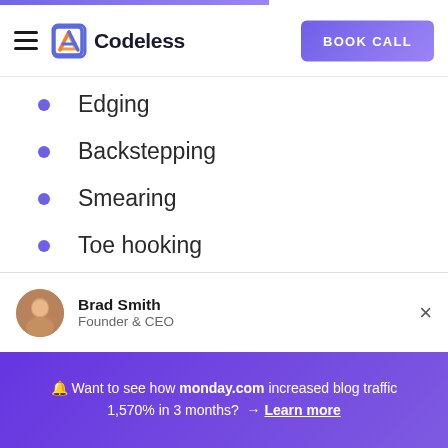Codeless | BOOK CALL
Edging
Backstepping
Smearing
Toe hooking
Heel hooking
Brad Smith
Founder & CEO
🔔 Want to see how monday.com increased blog traffic 1,570% in 3 months? → Learn more